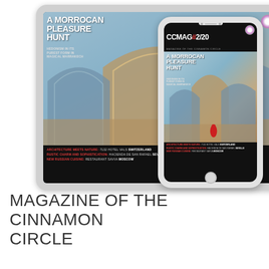[Figure (photo): Tablet and smartphone devices displaying a magazine cover. The magazine is titled 'A MORROCAN PLEASURE HUNT' with subtitle 'HEDONISM IN ITS PUREST FORM IN MAGICAL MARRAKECH'. The cover shows Moroccan architecture with arches. The phone also shows CCMAG#2/20 header. Both screens display the same magazine with bottom text about ARCHITECTURE MEETS NATURE: 7132 HOTEL VALS SWITZERLAND, RUSTIC CHARM AND SOPHISTICATION: HACIENDA DE SAN RAFAEL SEVILLE, NEW RUSSIAN CUISINE: RESTAURANT SAVVA MOSCOW.]
MAGAZINE OF THE CINNAMON CIRCLE